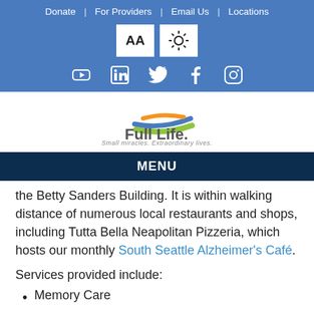Donate | For Providers | Email Us | Locations
[Figure (screenshot): Accessibility buttons: AA (text size) and sun/brightness icon]
[Figure (screenshot): Social media icons: YouTube, LinkedIn, Twitter, Facebook, Instagram]
[Figure (logo): Full Life logo with colorful swoosh design and tagline 'Small miracles. Extraordinary lives.']
MENU
the Betty Sanders Building. It is within walking distance of numerous local restaurants and shops, including Tutta Bella Neapolitan Pizzeria, which hosts our monthly South Seattle Alzheimer's Café.
Services provided include:
Memory Care